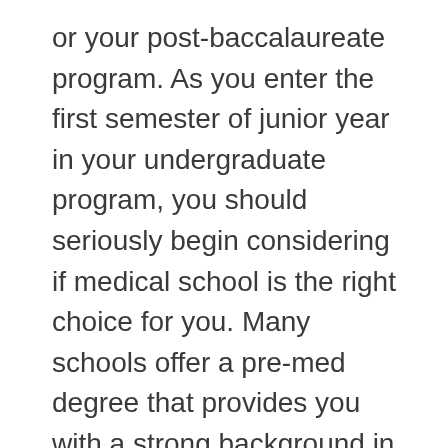or your post-baccalaureate program. As you enter the first semester of junior year in your undergraduate program, you should seriously begin considering if medical school is the right choice for you. Many schools offer a pre-med degree that provides you with a strong background in biology, physiology and chemistry. The medical school application process is extremely competitive. For full details, please click here. The timeline below is a guide. In other words, you can apply to medical school before you complete your degree. As a traditional medical school applicant, you will prepare for and apply to medical school during college and enter a program directly upon